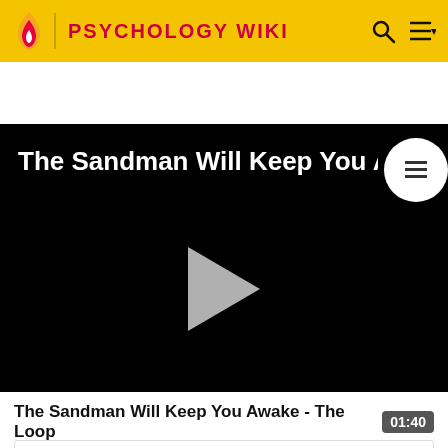PSYCHOLOGY WIKI
[Figure (screenshot): Video player with black background showing title 'The Sandman Will Keep You Awake.' and a gray play button in the center. A white circular button with a list icon is in the top right corner.]
The Sandman Will Keep You Awake - The Loop
01:40
Religious | Right to die
edit this box